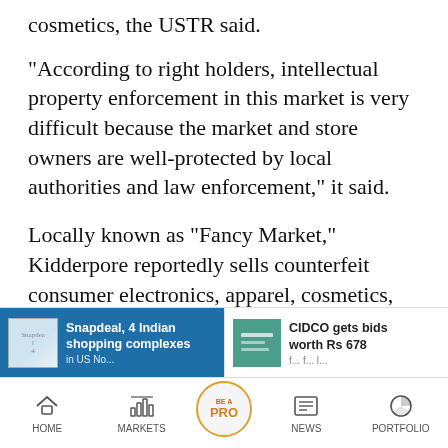cosmetics, the USTR said.
"According to right holders, intellectual property enforcement in this market is very difficult because the market and store owners are well-protected by local authorities and law enforcement," it said.
Locally known as "Fancy Market," Kidderpore reportedly sells counterfeit consumer electronics, apparel, cosmetics, and pirated software and media, often at wholesale quantities, the USTR said.
In it... the USTR said that the activities of
[Figure (screenshot): Mobile app bottom banner showing two news article previews: 'Snapdeal, 4 Indian shopping complexes...' on blue background and 'CIDCO gets bids worth Rs 678...' on white background]
HOME | MARKETS | BE A PRO | NEWS | PORTFOLIO